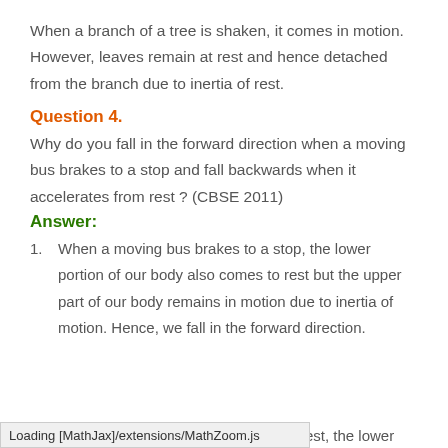When a branch of a tree is shaken, it comes in motion. However, leaves remain at rest and hence detached from the branch due to inertia of rest.
Question 4.
Why do you fall in the forward direction when a moving bus brakes to a stop and fall backwards when it accelerates from rest ? (CBSE 2011)
Answer:
When a moving bus brakes to a stop, the lower portion of our body also comes to rest but the upper part of our body remains in motion due to inertia of motion. Hence, we fall in the forward direction.
rest, the lower
Loading [MathJax]/extensions/MathZoom.js